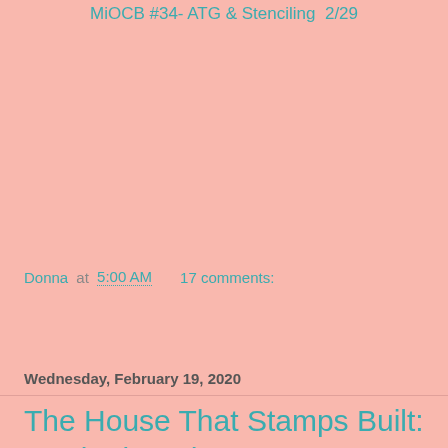MiOCB #34- ATG & Stenciling  2/29
Donna at 5:00 AM    17 comments:
Share
Wednesday, February 19, 2020
The House That Stamps Built: Inspiration Photo
Wendy has another beautiful photo for us this week at The House That Stamps Built: